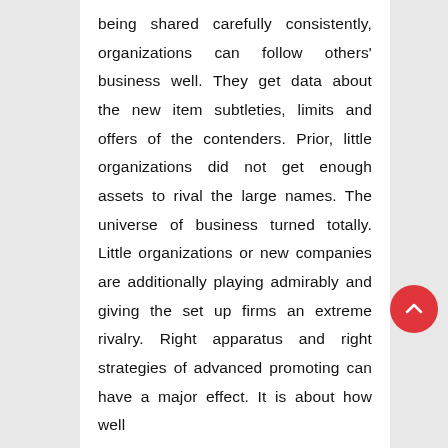being shared carefully consistently, organizations can follow others' business well. They get data about the new item subtleties, limits and offers of the contenders. Prior, little organizations did not get enough assets to rival the large names. The universe of business turned totally. Little organizations or new companies are additionally playing admirably and giving the set up firms an extreme rivalry. Right apparatus and right strategies of advanced promoting can have a major effect. It is about how well